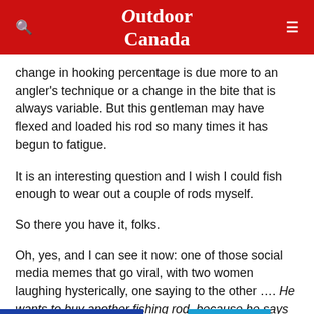Outdoor Canada
change in hooking percentage is due more to an angler's technique or a change in the bite that is always variable. But this gentleman may have flexed and loaded his rod so many times it has begun to fatigue.
It is an interesting question and I wish I could fish enough to wear out a couple of rods myself.
So there you have it, folks.
Oh, yes, and I can see it now: one of those social media memes that go viral, with two women laughing hysterically, one saying to the other …. He wants to buy another fishing rod, because he says he wore out the first one."